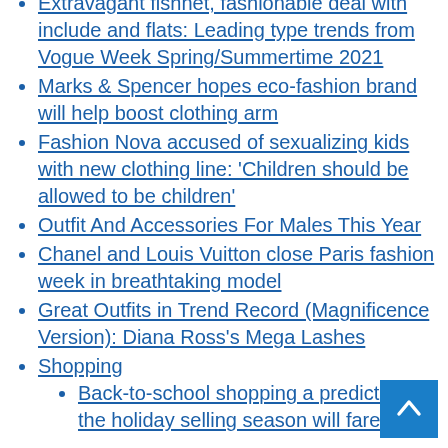Extravagant fishnet, fashionable deal with include and flats: Leading type trends from Vogue Week Spring/Summertime 2021
Marks & Spencer hopes eco-fashion brand will help boost clothing arm
Fashion Nova accused of sexualizing kids with new clothing line: 'Children should be allowed to be children'
Outfit And Accessories For Males This Year
Chanel and Louis Vuitton close Paris fashion week in breathtaking model
Great Outfits in Trend Record (Magnificence Version): Diana Ross's Mega Lashes
Shopping
Back-to-school shopping a predictor of the holiday selling season will fare. |